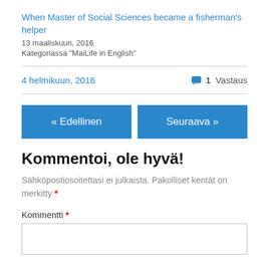When Master of Social Sciences became a fisherman's helper
13 maaliskuun, 2016
Kategoriassa "MaiLife in English"
4 helmikuun, 2016
💬 1 Vastaus
« Edellinen
Seuraava »
Kommentoi, ole hyvä!
Sähköpostiosoitettasi ei julkaista. Pakolliset kentät on merkitty *
Kommentti *